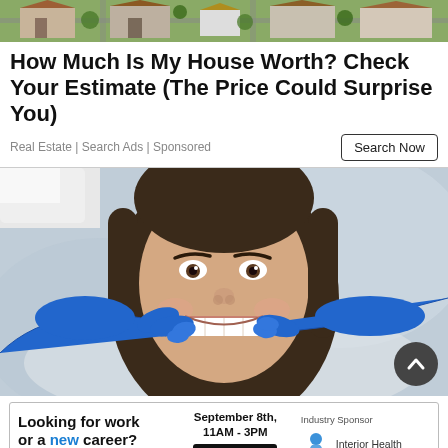[Figure (photo): Aerial view of suburban houses with green lawns and rooftops]
How Much Is My House Worth? Check Your Estimate (The Price Could Surprise You)
Real Estate | Search Ads | Sponsored
[Figure (photo): Young woman smiling at the dentist while a dentist in blue gloves examines her teeth]
[Figure (infographic): Advertisement banner: 'Looking for work or a new career? Featuring 15+ Exhibitors and Growing! September 8th, 11AM-3PM CLICK HERE. Industry Sponsor: Interior Health']